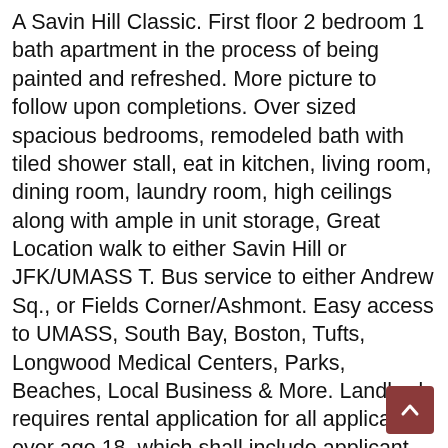A Savin Hill Classic. First floor 2 bedroom 1 bath apartment in the process of being painted and refreshed. More picture to follow upon completions. Over sized spacious bedrooms, remodeled bath with tiled shower stall, eat in kitchen, living room, dining room, laundry room, high ceilings along with ample in unit storage, Great Location walk to either Savin Hill or JFK/UMASS T. Bus service to either Andrew Sq., or Fields Corner/Ashmont. Easy access to UMASS, South Bay, Boston, Tufts, Longwood Medical Centers, Parks, Beaches, Local Business & More. Landlord requires rental application for all applicant over age 18, which shall include applicant providing a credit score report no older then 30 days with both name and score printed, A background check including personal references will be required. First and Last month rent as well as Broker Fee all due at the time of Lease Signing. Sorry No Pets allowed. This is a NONE Smoking Property. Available for Occupancy June 1, 2022.